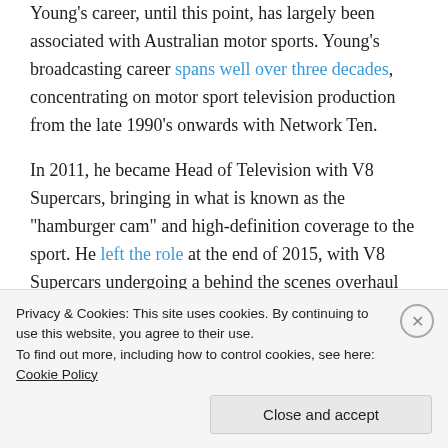Young's career, until this point, has largely been associated with Australian motor sports. Young's broadcasting career spans well over three decades, concentrating on motor sport television production from the late 1990's onwards with Network Ten.
In 2011, he became Head of Television with V8 Supercars, bringing in what is known as the "hamburger cam" and high-definition coverage to the sport. He left the role at the end of 2015, with V8 Supercars undergoing a behind the scenes overhaul affecting more than just Young.
Privacy & Cookies: This site uses cookies. By continuing to use this website, you agree to their use. To find out more, including how to control cookies, see here: Cookie Policy
Close and accept